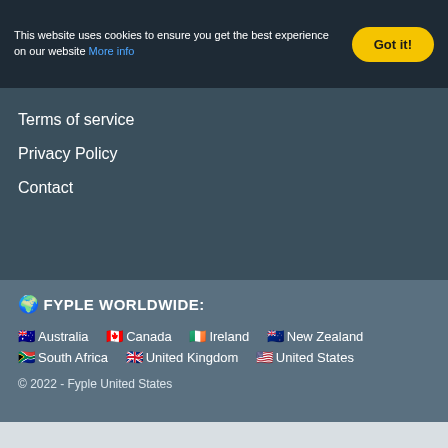This website uses cookies to ensure you get the best experience on our website More info
Got it!
Terms of service
Privacy Policy
Contact
🌍 FYPLE WORLDWIDE:
🇦🇺 Australia   🇨🇦 Canada   🇮🇪 Ireland   🇳🇿 New Zealand
🇿🇦 South Africa   🇬🇧 United Kingdom   🇺🇸 United States
© 2022 - Fyple United States